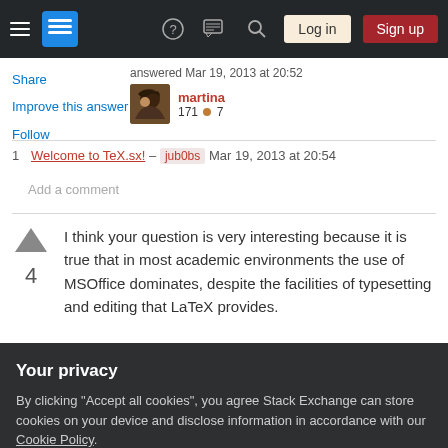[Figure (screenshot): Stack Exchange navigation bar with hamburger menu, logo, question/chat/search icons, Log in and Sign up buttons]
Share
Improve this answer
Follow
answered Mar 19, 2013 at 20:52
martina
171 ● 7
1   Welcome to TeX.sx! – jub0bs   Mar 19, 2013 at 20:54
Add a comment
I think your question is very interesting because it is true that in most academic environments the use of MSOffice dominates, despite the facilities of typesetting and editing that LaTeX provides.
Your privacy
By clicking "Accept all cookies", you agree Stack Exchange can store cookies on your device and disclose information in accordance with our Cookie Policy.
Accept all cookies   Customize settings
convince people is doing a presentation (using